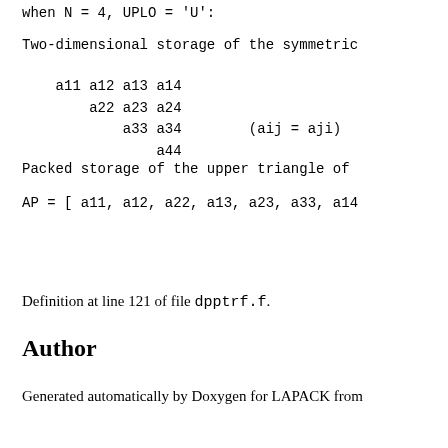when N = 4, UPLO = 'U':
Two-dimensional storage of the symmetric
a11 a12 a13 a14
    a22 a23 a24
        a33 a34        (aij = aji)
            a44
Packed storage of the upper triangle of
AP = [ a11, a12, a22, a13, a23, a33, a14
Definition at line 121 of file dpptrf.f.
Author
Generated automatically by Doxygen for LAPACK from